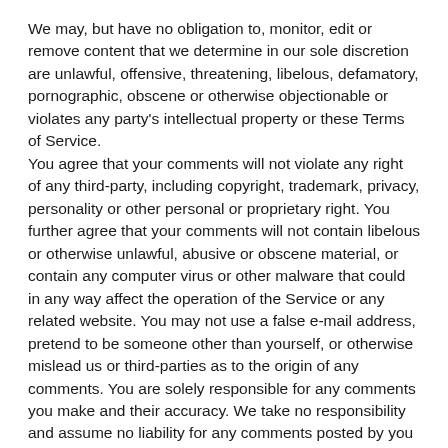We may, but have no obligation to, monitor, edit or remove content that we determine in our sole discretion are unlawful, offensive, threatening, libelous, defamatory, pornographic, obscene or otherwise objectionable or violates any party's intellectual property or these Terms of Service. You agree that your comments will not violate any right of any third-party, including copyright, trademark, privacy, personality or other personal or proprietary right. You further agree that your comments will not contain libelous or otherwise unlawful, abusive or obscene material, or contain any computer virus or other malware that could in any way affect the operation of the Service or any related website. You may not use a false e-mail address, pretend to be someone other than yourself, or otherwise mislead us or third-parties as to the origin of any comments. You are solely responsible for any comments you make and their accuracy. We take no responsibility and assume no liability for any comments posted by you or any third-party.
SECTION 10 - PERSONAL INFORMATION